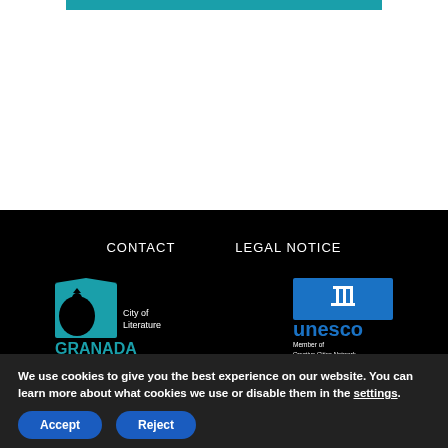[Figure (logo): Teal bar at top of page]
CONTACT   LEGAL NOTICE
[Figure (logo): City of Literature Granada logo - teal book and pomegranate silhouette with text 'City of Literature GRANADA']
[Figure (logo): UNESCO Creative Cities Network logo - blue rectangle with building icon and 'unesco Member of Creative Cities Network']
We use cookies to give you the best experience on our website. You can learn more about what cookies we use or disable them in the settings.
Accept
Reject